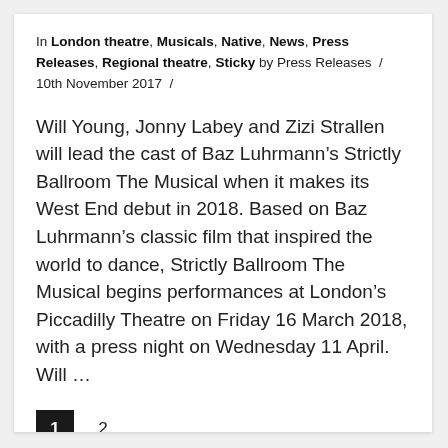In London theatre, Musicals, Native, News, Press Releases, Regional theatre, Sticky by Press Releases / 10th November 2017 /
Will Young, Jonny Labey and Zizi Strallen will lead the cast of Baz Luhrmann’s Strictly Ballroom The Musical when it makes its West End debut in 2018. Based on Baz Luhrmann’s classic film that inspired the world to dance, Strictly Ballroom The Musical begins performances at London’s Piccadilly Theatre on Friday 16 March 2018, with a press night on Wednesday 11 April. Will …
1  2